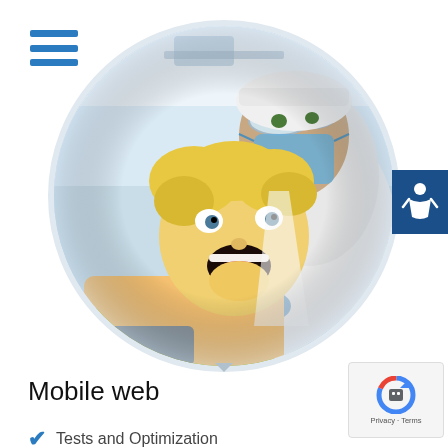[Figure (illustration): Hamburger/menu icon with three blue horizontal bars]
[Figure (photo): Circular cropped photo of a dentist in blue surgical mask and goggles examining a young blonde child with open mouth, using dental instruments. Child is in a dental chair with a green bib.]
[Figure (illustration): Blue square accessibility button with white person/wheelchair icon on the right edge]
Mobile web
[Figure (illustration): reCAPTCHA badge with Google reCAPTCHA logo, showing Privacy and Terms text]
Tests and Optimization